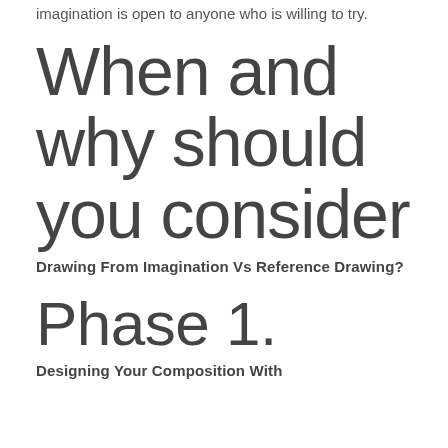imagination is open to anyone who is willing to try.
When and why should you consider
Drawing From Imagination Vs Reference Drawing?
Phase 1.
Designing Your Composition With